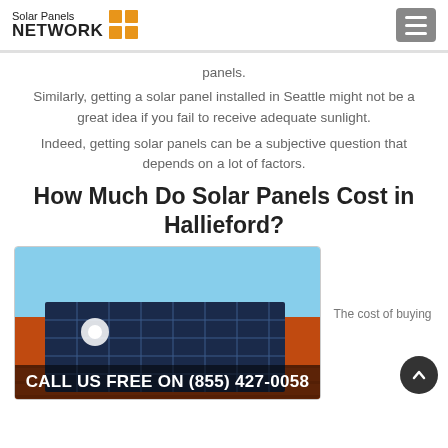Solar Panels NETWORK
panels.
Similarly, getting a solar panel installed in Seattle might not be a great idea if you fail to receive adequate sunlight.
Indeed, getting solar panels can be a subjective question that depends on a lot of factors.
How Much Do Solar Panels Cost in Hallieford?
[Figure (photo): Solar panels mounted on an orange tiled roof against a blue sky]
The cost of buying
CALL US FREE ON (855) 427-0058